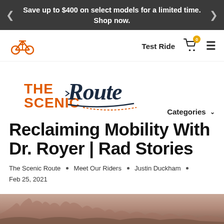Save up to $400 on select models for a limited time. Shop now.
[Figure (logo): Rad Power Bikes orange bicycle icon logo]
Test Ride
[Figure (logo): The Scenic Route blog logo in orange and dark navy script]
Categories
Reclaiming Mobility With Dr. Royer | Rad Stories
The Scenic Route • Meet Our Riders • Justin Duckham • Feb 25, 2021
[Figure (photo): Outdoor winter scene photo strip at the bottom of the page]